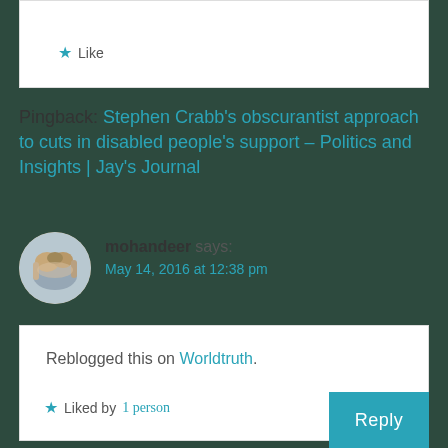Like
Pingback: Stephen Crabb’s obscurantist approach to cuts in disabled people’s support – Politics and Insights | Jay’s Journal
mohandeer says: May 14, 2016 at 12:38 pm
Reblogged this on Worldtruth.
Liked by 1 person
Reply